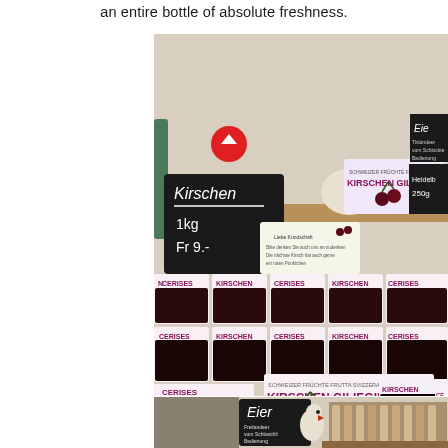an entire bottle of absolute freshness.
[Figure (photo): Indoor farm shop display showing multiple boxes of Swiss cherries (Kirschen/Cerises/Ciliegie) labeled 'Schweizer Früchte Frutta Svizzera Kirschen Giliegie'. A chalkboard sign reads 'Kirschen 1kg Fr 9.-'. A ceramic hen decorates the shelf. A chalkboard partly visible on the right mentions 'Heidelb 250g'. Another board in top-right corner shows 'Eier' with text about eggs.]
[Figure (photo): Lower partial photo of the same farm shop, showing an 'Eier' (eggs) chalkboard with pricing, a rooster figurine, and shelves of bottled products in the background.]